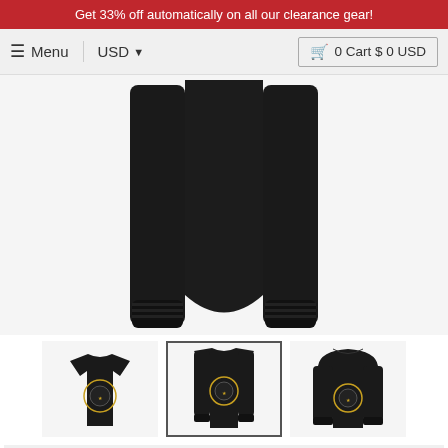Get 33% off automatically on all our clearance gear!
☰ Menu   USD ▾   🛒 0 Cart $ 0 USD
[Figure (photo): Main product image: black long-sleeve shirt shown from behind/front split view with sleeves visible on left and right, body panel in center]
[Figure (photo): Thumbnail row: three product variants — black t-shirt, black long-sleeve shirt (selected/highlighted), black hoodie — all with Boston hockey graphic]
Boston Hockey Fans. Black &